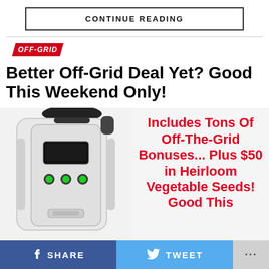CONTINUE READING
OFF-GRID
Better Off-Grid Deal Yet? Good This Weekend Only!
[Figure (photo): White portable power generator/inverter device with green LED buttons and a small display screen, photographed from the front on a white background.]
Includes Tons Of Off-The-Grid Bonuses... Plus $50 in Heirloom Vegetable Seeds! Good This
SHARE   TWEET   ...